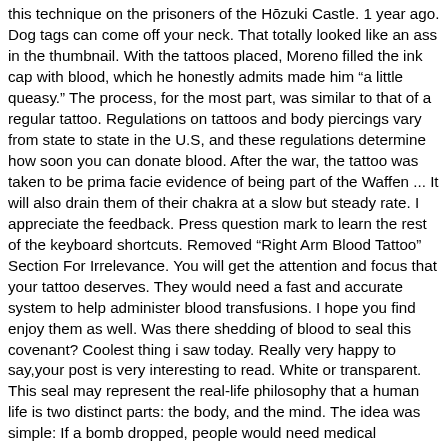this technique on the prisoners of the Hōzuki Castle. 1 year ago. Dog tags can come off your neck. That totally looked like an ass in the thumbnail. With the tattoos placed, Moreno filled the ink cap with blood, which he honestly admits made him "a little queasy." The process, for the most part, was similar to that of a regular tattoo. Regulations on tattoos and body piercings vary from state to state in the U.S, and these regulations determine how soon you can donate blood. After the war, the tattoo was taken to be prima facie evidence of being part of the Waffen ... It will also drain them of their chakra at a slow but steady rate. I appreciate the feedback. Press question mark to learn the rest of the keyboard shortcuts. Removed "Right Arm Blood Tattoo" Section For Irrelevance. You will get the attention and focus that your tattoo deserves. They would need a fast and accurate system to help administer blood transfusions. I hope you find enjoy them as well. Was there shedding of blood to seal this covenant? Coolest thing i saw today. Really very happy to say,your post is very interesting to read. White or transparent. This seal may represent the real-life philosophy that a human life is two distinct parts: the body, and the mind. The idea was simple: If a bomb dropped, people would need medical attention. Ouroboros Tattoo is selected by those only who know its meaning. Post was not sent - check your email addresses! I bet more than one peed themselves and more than a few passed out. Hundreds, if not thousands, of children, lined up in nurse's offices in Indiana and Utah. In